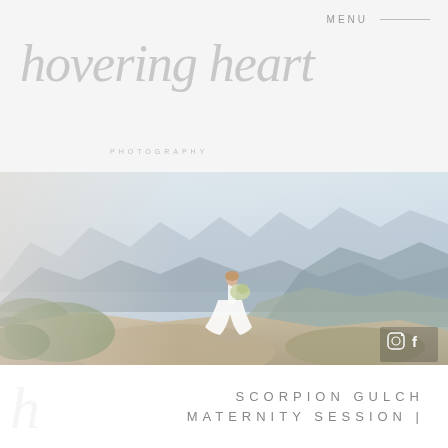MENU
hovering heart
PHOTOGRAPHY
[Figure (photo): Woman in white flowing dress holding a bouquet of flowers standing on rocky outcrop with sweeping mountain landscape behind her, misty blue-grey mountains in background, fine art photography style]
SCORPION GULCH
MATERNITY SESSION |